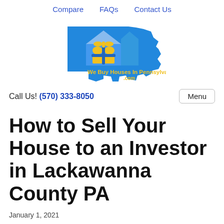Compare   FAQs   Contact Us
[Figure (logo): We Buy Houses In Pennsylvania .com logo: blue Pennsylvania state shape with a house icon containing yellow windows, and yellow text reading 'We Buy Houses In Pennsylvania .com']
Call Us! (570) 333-8050
How to Sell Your House to an Investor in Lackawanna County PA
January 1, 2021